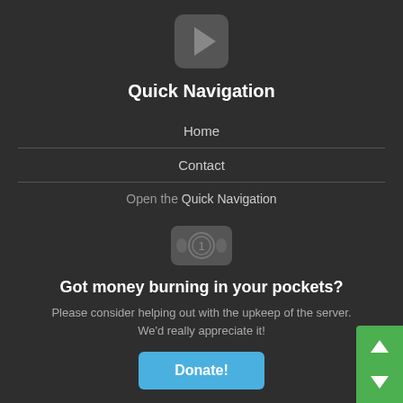[Figure (illustration): Play button icon — a rounded square with a right-pointing triangle]
Quick Navigation
Home
Contact
Open the Quick Navigation
[Figure (illustration): Dollar bill icon — a rounded rectangle with a circled '1']
Got money burning in your pockets?
Please consider helping out with the upkeep of the server. We'd really appreciate it!
Donate!
[Figure (illustration): Green scroll widget with up and down arrows on the right side]